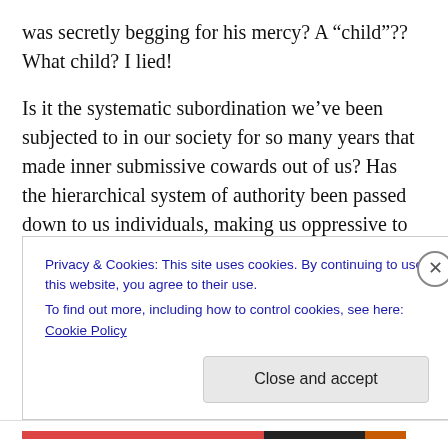was secretly begging for his mercy? A “child”?? What child? I lied!

Is it the systematic subordination we’ve been subjected to in our society for so many years that made inner submissive cowards out of us? Has the hierarchical system of authority been passed down to us individuals, making us oppressive to those below us and submissive to those above?
Privacy & Cookies: This site uses cookies. By continuing to use this website, you agree to their use.
To find out more, including how to control cookies, see here: Cookie Policy

Close and accept